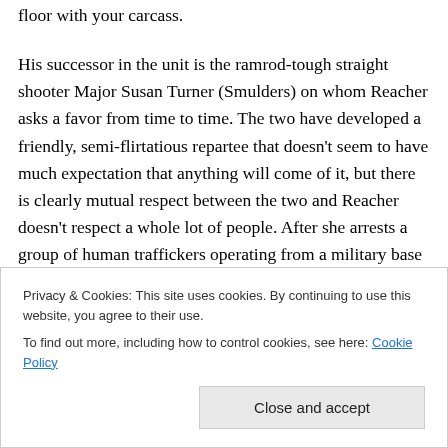floor with your carcass.
His successor in the unit is the ramrod-tough straight shooter Major Susan Turner (Smulders) on whom Reacher asks a favor from time to time. The two have developed a friendly, semi-flirtatious repartee that doesn't seem to have much expectation that anything will come of it, but there is clearly mutual respect between the two and Reacher doesn't respect a whole lot of people. After she arrests a group of human traffickers operating from a military base (and rescuing Reacher from being arrested himself for assault in the bargain), he tells her that he owes her a
Privacy & Cookies: This site uses cookies. By continuing to use this website, you agree to their use.
To find out more, including how to control cookies, see here: Cookie Policy